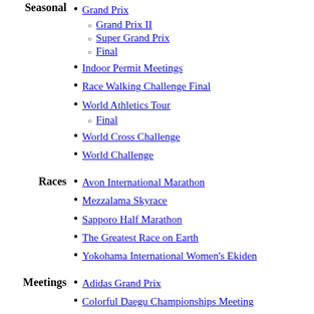Seasonal
Grand Prix
Grand Prix II
Super Grand Prix
Final
Indoor Permit Meetings
Race Walking Challenge Final
World Athletics Tour
Final
World Cross Challenge
World Challenge
Races
Avon International Marathon
Mezzalama Skyrace
Sapporo Half Marathon
The Greatest Race on Earth
Yokohama International Women's Ekiden
Meetings
Adidas Grand Prix
Colorful Daegu Championships Meeting
Helsinki Grand Prix
Meeting Lille-Métropole
Meeting Nikaïa
Rieti Meeting
U.S. Open Track and Field
Vardinoyiannia
Weltklasse Zürich